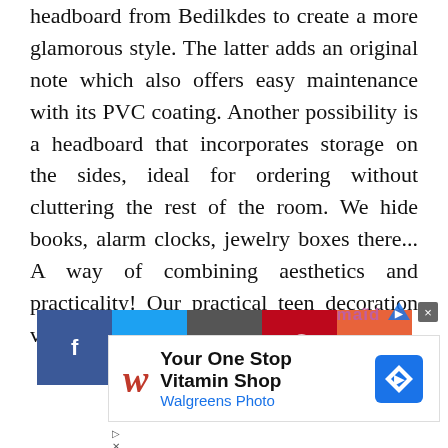headboard from Bedilkdes to create a more glamorous style. The latter adds an original note which also offers easy maintenance with its PVC coating. Another possibility is a headboard that incorporates storage on the sides, ideal for ordering without cluttering the rest of the room. We hide books, alarm clocks, jewelry boxes there... A way of combining aesthetics and practicality! Our practical teen decoration videos
[Figure (other): Row of five social media share buttons: Facebook (dark blue), Twitter (light blue), Email/share (dark gray), Pinterest (dark red), and a Plus/More button (orange-red)]
[Figure (other): Advertisement banner for Walgreens Photo with text 'Your One Stop Vitamin Shop' and 'Walgreens Photo', featuring Walgreens W logo in red and a blue navigation diamond icon. Small play and close controls below.]